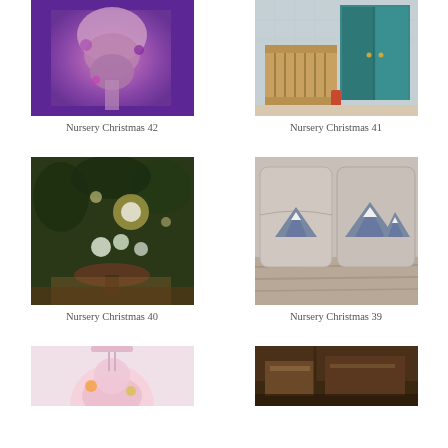[Figure (photo): Gingerbread man decoration with purple and pink Christmas display]
Nursery Christmas 42
[Figure (photo): Children's room with wooden crib and teal wardrobe]
Nursery Christmas 41
[Figure (photo): Indoor garden space with lights and flowers at night]
Nursery Christmas 40
[Figure (photo): Two cushions with mountain peak design in grey and white]
Nursery Christmas 39
[Figure (photo): Partial view of pink Christmas nursery decoration]
[Figure (photo): Partial view of dark wooden surface with items]